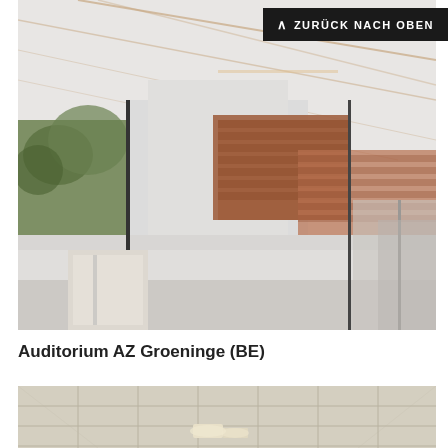[Figure (photo): Interior photo of Auditorium AZ Groeninge showing bright white ceiling with linear lighting slots, large floor-to-ceiling windows revealing red-tiled rooftops of adjacent buildings, and a modern hallway with white walls.]
Auditorium AZ Groeninge (BE)
[Figure (photo): Partial interior photo showing a suspended ceiling with rectangular panels and recessed lighting fixtures.]